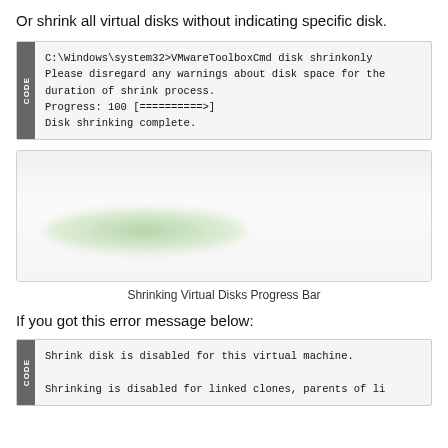Or shrink all virtual disks without indicating specific disk.
[Figure (screenshot): Terminal/command prompt code block showing VMwareToolboxCmd disk shrinkonly command output with progress bar reaching 100% and 'Disk shrinking complete.' message]
[Figure (screenshot): Screenshot of Shrinking Virtual Disks Progress Bar dialog with a green progress indicator]
Shrinking Virtual Disks Progress Bar
If you got this error message below:
[Figure (screenshot): Terminal/command prompt code block showing error messages: 'Shrink disk is disabled for this virtual machine.' and 'Shrinking is disabled for linked clones, parents of li']